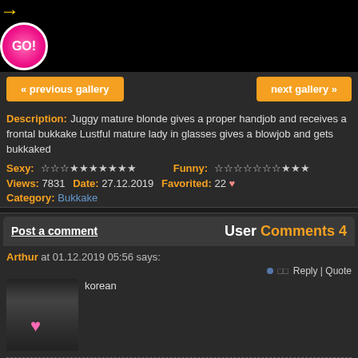[Figure (photo): Gallery navigation header with two adult content thumbnail images on left and right, center black panel with pink GO button and golden arrow decoration]
« previous gallery    next gallery »
Description: Juggy mature blonde gives a proper handjob and receives a frontal bukkake Lustful mature lady in glasses gives a blowjob and gets bukkaked
Sexy: ☆☆☆★★★★★★★   Funny: ☆☆☆☆☆☆☆★★★
Views: 7831 Date: 27.12.2019 Favorited: 22 ♥
Category: Bukkake
User Comments 4
Post a comment
Arthur at 01.12.2019 05:56 says:
korean
Hettie at 05.02.2020 03:19 says:
Indian women cunt are hot love to fuck her togetherwith lick her vagina